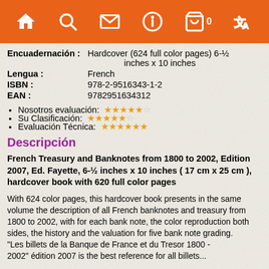Navigation bar with home, search, mail, info, cart (0), translate icons
| Encuadernación : | Hardcover (624 full color pages) 6-½ inches x 10 inches |
| Lengua : | French |
| ISBN : | 978-2-9516343-1-2 |
| EAN : | 9782951634312 |
Nosotros evaluación: ★★★★★☆
Su Clasificación: ★★★★★☆
Evaluación Técnica: ★★★★★★
Descripción
French Treasury and Banknotes from 1800 to 2002, Edition 2007, Ed. Fayette, 6-½ inches x 10 inches ( 17 cm x 25 cm ), hardcover book with 620 full color pages
With 624 color pages, this hardcover book presents in the same volume the description of all French banknotes and treasury from 1800 to 2002, with for each bank note, the color reproduction both sides, the history and the valuation for five bank note grading.
"Les billets de la Banque de France et du Tresor 1800 - 2002" édition 2007 is the best reference for all billets...